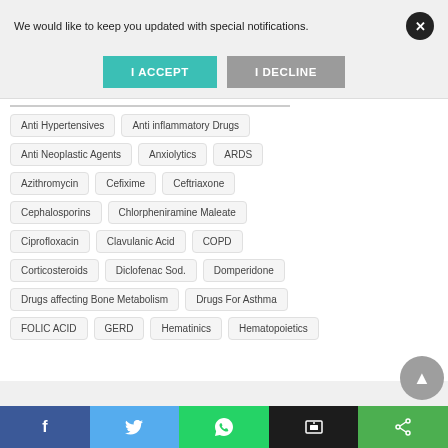We would like to keep you updated with special notifications.
I ACCEPT
I DECLINE
Anti Hypertensives
Anti inflammatory Drugs
Anti Neoplastic Agents
Anxiolytics
ARDS
Azithromycin
Cefixime
Ceftriaxone
Cephalosporins
Chlorpheniramine Maleate
Ciprofloxacin
Clavulanic Acid
COPD
Corticosteroids
Diclofenac Sod.
Domperidone
Drugs affecting Bone Metabolism
Drugs For Asthma
FOLIC ACID
GERD
Hematinics
Hematopoietics